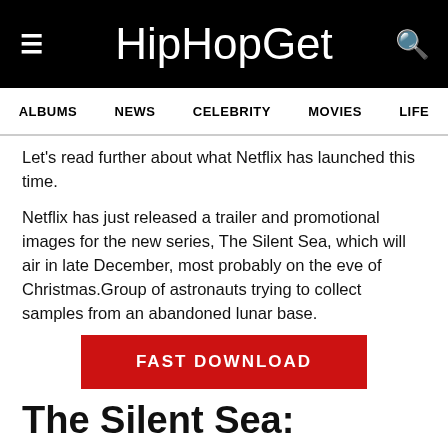HipHopGet
ALBUMS  NEWS  CELEBRITY  MOVIES  LIFE
Let's read further about what Netflix has launched this time.
Netflix has just released a trailer and promotional images for the new series, The Silent Sea, which will air in late December, most probably on the eve of Christmas.Group of astronauts trying to collect samples from an abandoned lunar base.
[Figure (other): Red FAST DOWNLOAD button]
The Silent Sea: Releasing On Christmas Eve